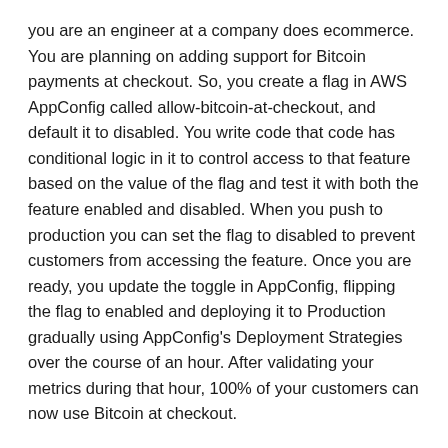you are an engineer at a company does ecommerce. You are planning on adding support for Bitcoin payments at checkout. So, you create a flag in AWS AppConfig called allow-bitcoin-at-checkout, and default it to disabled. You write code that code has conditional logic in it to control access to that feature based on the value of the flag and test it with both the feature enabled and disabled. When you push to production you can set the flag to disabled to prevent customers from accessing the feature. Once you are ready, you update the toggle in AppConfig, flipping the flag to enabled and deploying it to Production gradually using AppConfig's Deployment Strategies over the course of an hour. After validating your metrics during that hour, 100% of your customers can now use Bitcoin at checkout.
Next, let's create a more complex flag. In this case, you will specify multiple checkout options using a single flag. Let's say your team is launching a new feature, support for Bitcoin purchasing. You want to give a discount (for a limited time) if your users choose Bitcoin at checkout. In this case, you would use flag Attributes, as well as Attribute constraints. Within your